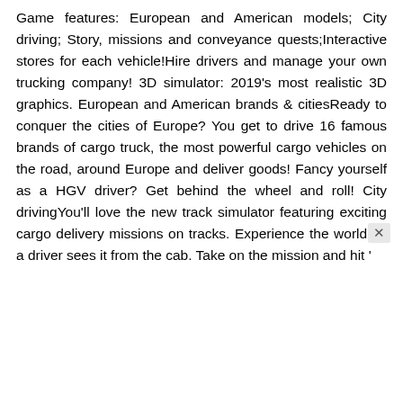Game features: European and American models; City driving; Story, missions and conveyance quests;Interactive stores for each vehicle!Hire drivers and manage your own trucking company! 3D simulator: 2019's most realistic 3D graphics. European and American brands & citiesReady to conquer the cities of Europe? You get to drive 16 famous brands of cargo truck, the most powerful cargo vehicles on the road, around Europe and deliver goods! Fancy yourself as a HGV driver? Get behind the wheel and roll! City drivingYou'll love the new track simulator featuring exciting cargo delivery missions on tracks. Experience the world as a driver sees it from the cab. Take on the mission and hit '